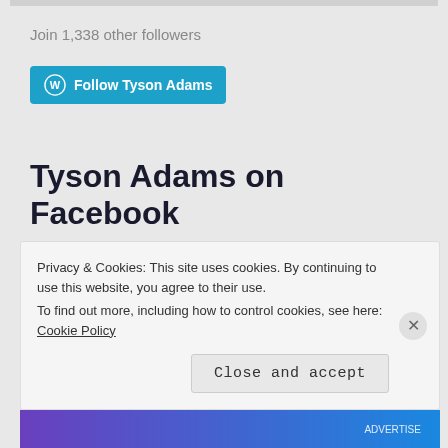Join 1,338 other followers
[Figure (other): Follow Tyson Adams button with WordPress logo, teal/blue background]
Tyson Adams on Facebook
Search this page
Privacy & Cookies: This site uses cookies. By continuing to use this website, you agree to their use.
To find out more, including how to control cookies, see here: Cookie Policy
Close and accept